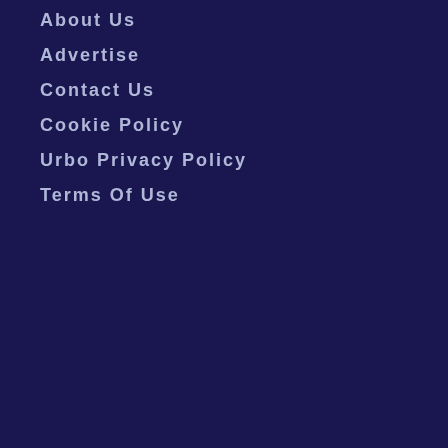About Us
Advertise
Contact Us
Cookie Policy
Urbo Privacy Policy
Terms Of Use
[Figure (logo): TAG and Coalition for Better Ads logos]
Copyright © 2021 Solid Ventures, Inc. All Rights Reserved. All products featured on Urbo.com are independently selected by our editors. However, when you buy something through our
We are using cookies to give you the best experience on our website.
sourn
Leesburg  OPEN | 10AM–9PM  241 Fort Evans Rd NE, Leesburg